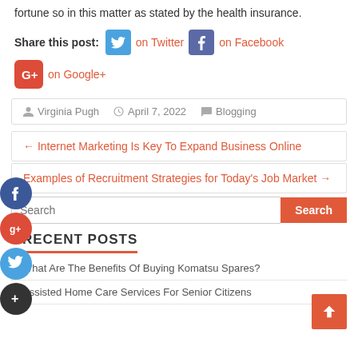fortune so in this matter as stated by the health insurance.
Share this post: on Twitter on Facebook on Google+
Virginia Pugh   April 7, 2022   Blogging
← Internet Marketing Is Key To Expand Business Online
Examples of Recruitment Strategies for Today's Job Market →
Search
RECENT POSTS
What Are The Benefits Of Buying Komatsu Spares?
Assisted Home Care Services For Senior Citizens